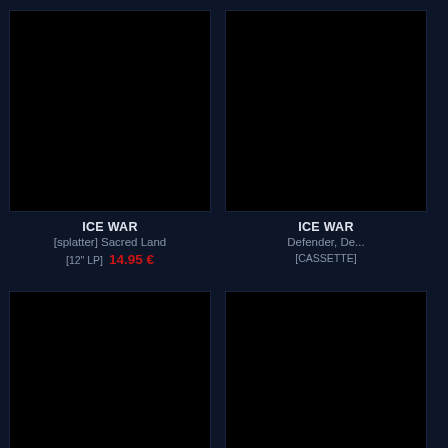[Figure (other): Dark navy background left panel with a thin horizontal divider line]
[Figure (photo): Black album cover image for ICE WAR - [splatter] Sacred Land]
ICE WAR
[splatter] Sacred Land
[12" LP]  14.95 €
[Figure (photo): Black album cover image for ICE WAR - Defender, De...]
ICE WAR
Defender, De...
[CASSETTE]
[Figure (photo): Black album cover image for MAD BUTCHER - Metal Lightning Attack]
MAD BUTCHER
Metal Lightning Attack
[CD]  11.95 €
[Figure (photo): Black album cover image for WITCHGRA... - Witchgra...]
WITCHGRA...
Witchgra...
[CD]  8.9...